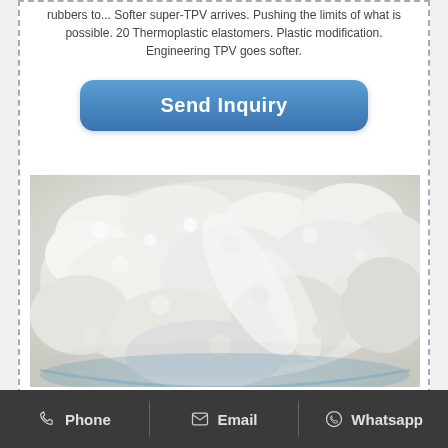rubbers to... Softer super-TPV arrives. Pushing the limits of what is possible. 20 Thermoplastic elastomers. Plastic modification. Engineering TPV goes softer.
Send Inquiry
[Figure (photo): Close-up photograph of white powder or granular material in a blue bowl]
Phone   Email   Whatsapp